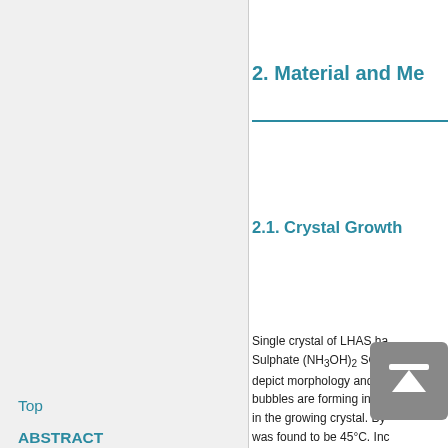2. Material and Me...
2.1. Crystal Growth
Single crystal of LHAS ha... Sulphate (NH3OH)2 SO4 ... depict morphology and ph... bubbles are forming in the... in the growing crystal. By... was found to be 45°C. Inc... air bubbles into th... thickness of the c... several times imp... single crystal of siz... principle and was f... The crystallographic axes...
Top
ABSTRACT
Introduction
Material and Methods
Results and Discussions
Conclusion
References
NOTES